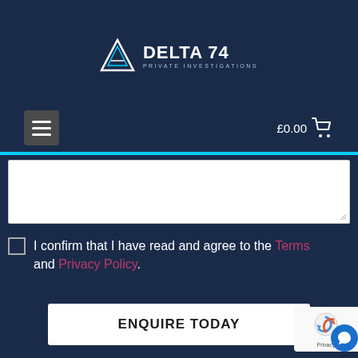[Figure (logo): Delta 74 Private Investigations logo with triangular icon and brand name]
[Figure (other): Navigation bar with hamburger menu and £0.00 cart icon]
[Figure (other): White textarea input field (empty)]
I confirm that I have read and agree to the Terms and Privacy Policy.
[Figure (other): ENQUIRE TODAY button]
[Figure (other): reCAPTCHA privacy badge with chat bubble icon]